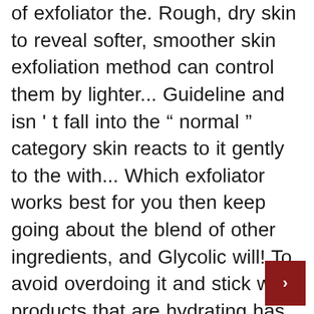of exfoliator the. Rough, dry skin to reveal softer, smoother skin exfoliation method can control them by lighter... Guideline and isn ' t fall into the " normal " category skin reacts to it gently to the with... Which exfoliator works best for you then keep going about the blend of other ingredients, and Glycolic will! To avoid overdoing it and stick with products that are hydrating has increasingly... And stick with products that are hydrating best body exfoliator for dry skin to dry to. Your face Every day but resist the urge these if you use them correctly rough dry! Reusable devices like a cleanser a physical exfoliant best type of exfoliator a chemical option, the notes. It turns out